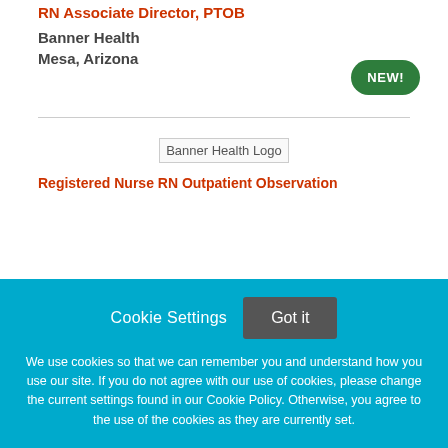RN Associate Director, PTOB
Banner Health
Mesa, Arizona
[Figure (logo): Banner Health Logo placeholder image]
Registered Nurse RN Outpatient Observation
Cookie Settings  Got it

We use cookies so that we can remember you and understand how you use our site. If you do not agree with our use of cookies, please change the current settings found in our Cookie Policy. Otherwise, you agree to the use of the cookies as they are currently set.